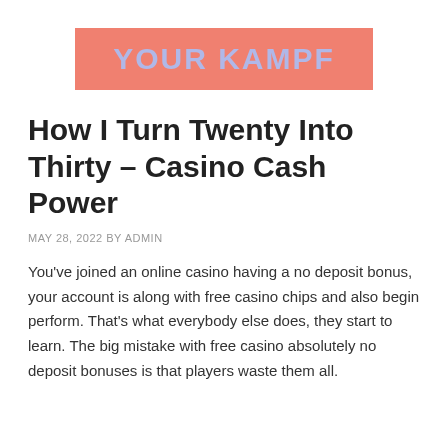[Figure (logo): YOUR KAMPF logo — salmon/coral pink rectangle with lavender/periwinkle bold uppercase text]
How I Turn Twenty Into Thirty – Casino Cash Power
MAY 28, 2022 BY ADMIN
You've joined an online casino having a no deposit bonus, your account is along with free casino chips and also begin perform. That's what everybody else does, they start to learn. The big mistake with free casino absolutely no deposit bonuses is that players waste them all.